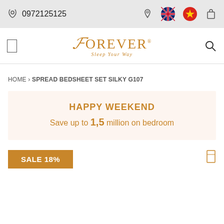0972125125
[Figure (logo): Forever Sleep Your Way logo in orange/gold serif font]
HOME > SPREAD BEDSHEET SET SILKY G107
HAPPY WEEKEND
Save up to 1,5 million on bedroom
SALE 18%